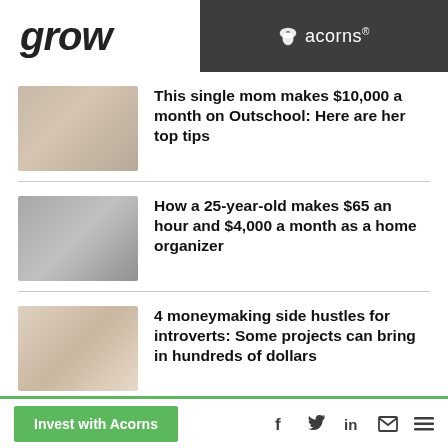grow / acorns®
This single mom makes $10,000 a month on Outschool: Here are her top tips
How a 25-year-old makes $65 an hour and $4,000 a month as a home organizer
4 moneymaking side hustles for introverts: Some projects can bring in hundreds of dollars
3 side hustles for night owls:
Invest with Acorns